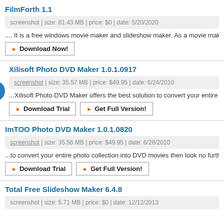FilmForth 1.1
screenshot | size: 81.43 MB | price: $0 | date: 5/20/2020
.... It is a free windows movie maker and slideshow maker. As a movie maker windows 10
Download Now!
Xilisoft Photo DVD Maker 1.0.1.0917
screenshot | size: 35.57 MB | price: $49.95 | date: 6/24/2010
...Xilisoft Photo DVD Maker offers the best solution to convert your entire photo collection
Download Trial | Get Full Version!
ImTOO Photo DVD Maker 1.0.1.0820
screenshot | size: 35.56 MB | price: $49.95 | date: 6/28/2010
...to convert your entire photo collection into DVD movies then look no further than ImTOO
Download Trial | Get Full Version!
Total Free Slideshow Maker 6.4.8
screenshot | size: 5.71 MB | price: $0 | date: 12/12/2013